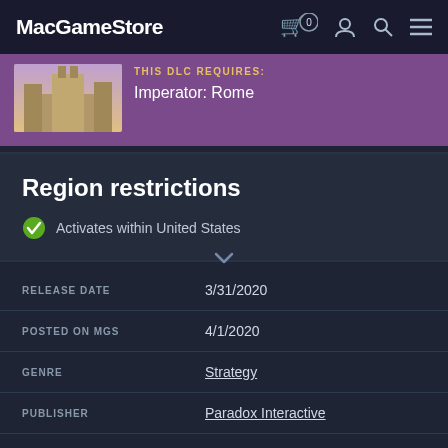MacGameStore
THIS DLC REQUIRES: Imperator: Rome
Region restrictions
Activates within United States
|  |  |
| --- | --- |
| RELEASE DATE | 3/31/2020 |
| POSTED ON MGS | 4/1/2020 |
| GENRE | Strategy |
| PUBLISHER | Paradox Interactive |